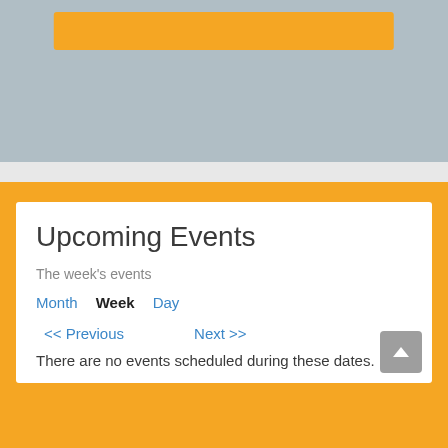[Figure (screenshot): Top gray section with orange banner/bar element partially visible at top]
Upcoming Events
The week's events
Month  Week  Day
<< Previous   Next >>
There are no events scheduled during these dates.